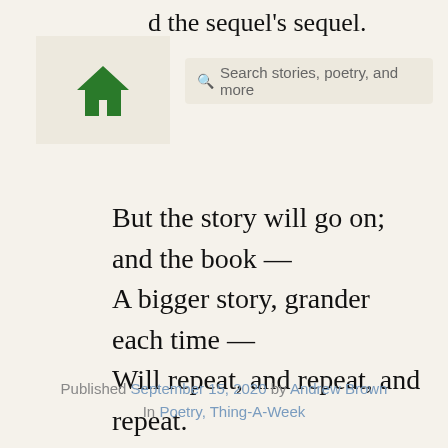d the sequel's sequel. Search stories, poetry, and more
But the story will go on; and the book —
A bigger story, grander each time —
Will repeat, and repeat, and repeat.
Published September 15, 2020 by Andrew Brown
In Poetry, Thing-A-Week